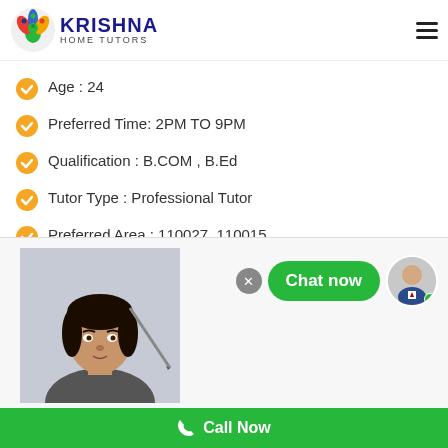[Figure (logo): Krishna Home Tutors logo with peacock icon and blue text]
Age : 24
Preferred Time: 2PM TO 9PM
Qualification : B.COM , B.Ed
Tutor Type : Professional Tutor
Preferred Area : 110027, 110015
[Figure (photo): Chat widget with green Chat now bubble and agent avatar]
[Figure (photo): Female tutor passport-style photo in bottom card]
Call Now